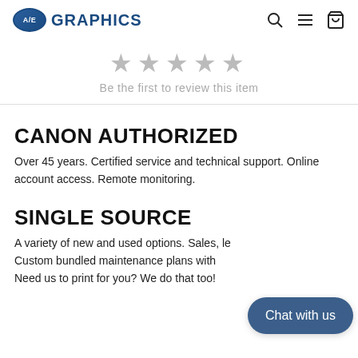A/E GRAPHICS
Be the first to review this item
CANON AUTHORIZED
Over 45 years. Certified service and technical support. Online account access. Remote monitoring.
SINGLE SOURCE
A variety of new and used options. Sales, le... Custom bundled maintenance plans with ... Need us to print for you? We do that too!